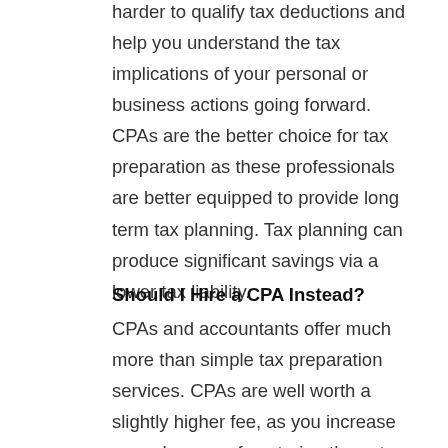harder to qualify tax deductions and help you understand the tax implications of your personal or business actions going forward. CPAs are the better choice for tax preparation as these professionals are better equipped to provide long term tax planning. Tax planning can produce significant savings via a lower tax liability.
Should I Hire a CPA Instead?
CPAs and accountants offer much more than simple tax preparation services. CPAs are well worth a slightly higher fee, as you increase your chances of capturing the extra money you spend in tax liability savings. Individuals and small businesses can rely on CPAs to